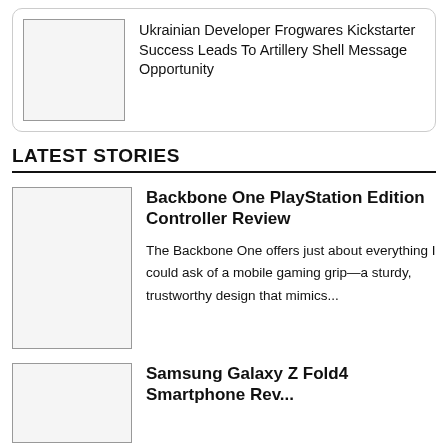[Figure (photo): Thumbnail image placeholder for article about Ukrainian Developer Frogwares Kickstarter]
Ukrainian Developer Frogwares Kickstarter Success Leads To Artillery Shell Message Opportunity
LATEST STORIES
[Figure (photo): Thumbnail image placeholder for Backbone One PlayStation Edition Controller Review article]
Backbone One PlayStation Edition Controller Review
The Backbone One offers just about everything I could ask of a mobile gaming grip—a sturdy, trustworthy design that mimics...
[Figure (photo): Thumbnail image placeholder for Samsung Galaxy Z Fold4 Smartphone Review article]
Samsung Galaxy Z Fold4 Smartphone Rev...